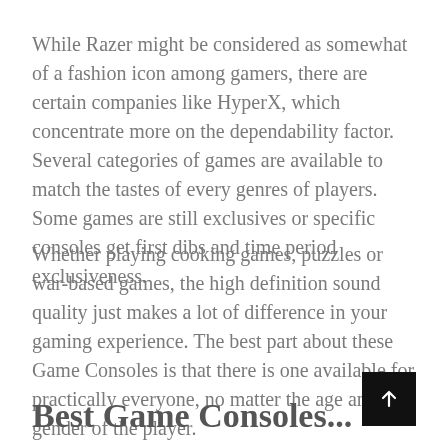While Razer might be considered as somewhat of a fashion icon among gamers, there are certain companies like HyperX, which concentrate more on the dependability factor. Several categories of games are available to match the tastes of every genres of players. Some games are still exclusives or specific consoles get first dibs and time period exclusiveness.
Whether playing cooking games, puzzles or war-based games, the high definition sound quality just makes a lot of difference in your gaming experience. The best part about these Game Consoles is that there is one available for practically everyone, no matter the age and gender of the player.
Best Game Consoles...